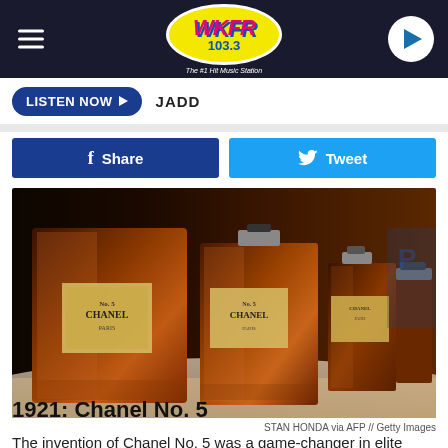WKFR 103.3 – The #1 Hit Music Station
LISTEN NOW ▶  JADD
f  Share    Tweet
[Figure (photo): Row of Chanel No. 5 perfume bottles of decreasing size lined up on a white surface, amber-colored liquid inside clear rectangular glass bottles with classic Chanel No. 5 labels.]
STAN HONDA via AFP // Getty Images
1921: Chanel No. 5
The invention of Chanel No. 5 was a game-changer in elite